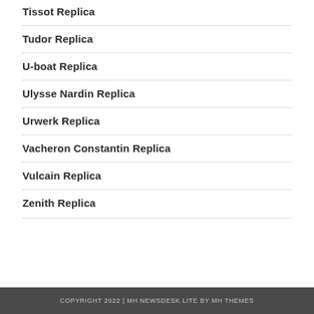Tissot Replica
Tudor Replica
U-boat Replica
Ulysse Nardin Replica
Urwerk Replica
Vacheron Constantin Replica
Vulcain Replica
Zenith Replica
COPYRIGHT 2022 | MH NEWSDESK LITE BY MH THEMES